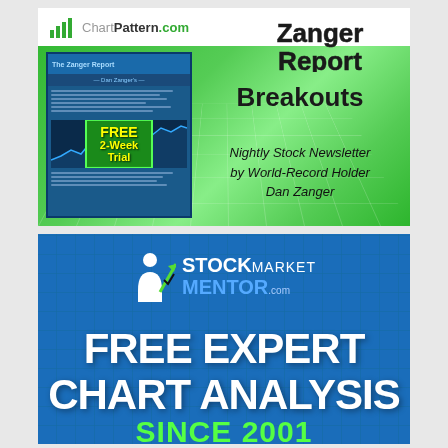[Figure (illustration): Zanger Report advertisement banner with green gradient background, grid lines, ChartPattern.com logo, newsletter mockup thumbnail with FREE 2-Week Trial badge, 'Zanger Report' title, 'Breakouts' text, and 'Nightly Stock Newsletter by World-Record Holder Dan Zanger' description]
[Figure (illustration): StockMarketMentor.com advertisement banner with blue background, person icon with upward arrow logo, STOCKMARKETMENTOR.com branding, and large white text 'FREE EXPERT CHART ANALYSIS SINCE 2001']